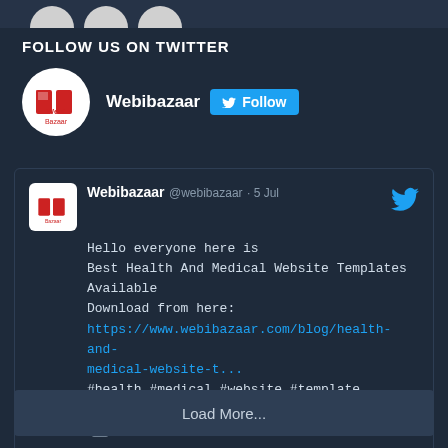[Figure (other): Partial circles visible at top of page strip]
FOLLOW US ON TWITTER
[Figure (logo): Webibazaar logo circular avatar with Follow button on Twitter]
Webibazaar @webibazaar · 5 Jul
Hello everyone here is
Best Health And Medical Website Templates Available
Download from here:
https://www.webibazaar.com/blog/health-and-medical-website-t...
#health #medical #website #template
#websitetemplate #websitetheme #webibazaar
Twitter
Load More...